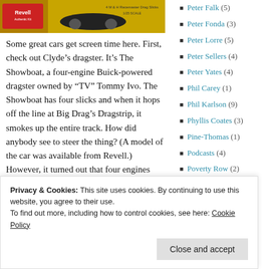[Figure (photo): Revell model kit box top showing a dragster car, text reading '4 M & H Racemaster Drag Slicks, 1/25 Scale']
Some great cars get screen time here. First, check out Clyde's dragster. It's The Showboat, a four-engine Buick-powered dragster owned by "TV" Tommy Ivo. The Showboat has four slicks and when it hops off the line at Big Drag's Dragstrip, it smokes up the entire track. How did anybody see to steer the thing? (A model of the car was available from Revell.) However, it turned out that four engines were not necessarily an advantage: due to the extra weight, it was slower than Ivo's twin-engine
Peter Falk (5)
Peter Fonda (3)
Peter Lorre (5)
Peter Sellers (4)
Peter Yates (4)
Phil Carey (1)
Phil Karlson (9)
Phyllis Coates (3)
Pine-Thomas (1)
Podcasts (4)
Poverty Row (2)
PRC (3)
Pre-Code (10)
Privacy & Cookies: This site uses cookies. By continuing to use this website, you agree to their use.
To find out more, including how to control cookies, see here: Cookie Policy
Close and accept